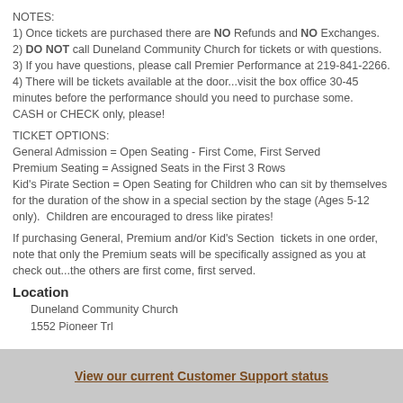NOTES:
1) Once tickets are purchased there are NO Refunds and NO Exchanges.
2) DO NOT call Duneland Community Church for tickets or with questions.
3) If you have questions, please call Premier Performance at 219-841-2266.
4) There will be tickets available at the door...visit the box office 30-45 minutes before the performance should you need to purchase some. CASH or CHECK only, please!
TICKET OPTIONS:
General Admission = Open Seating - First Come, First Served
Premium Seating = Assigned Seats in the First 3 Rows
Kid's Pirate Section = Open Seating for Children who can sit by themselves for the duration of the show in a special section by the stage (Ages 5-12 only). Children are encouraged to dress like pirates!
If purchasing General, Premium and/or Kid's Section tickets in one order, note that only the Premium seats will be specifically assigned as you at check out...the others are first come, first served.
Location
Duneland Community Church
1552 Pioneer Trl
View our current Customer Support status